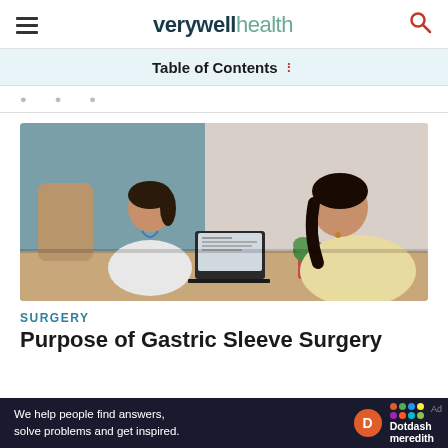verywellhealth
Table of Contents
[Figure (photo): A doctor in a white coat with a lanyard sits at a desk across from a patient with obesity, with a laptop open between them]
SURGERY
Purpose of Gastric Sleeve Surgery
We help people find answers, solve problems and get inspired. Dotdash meredith